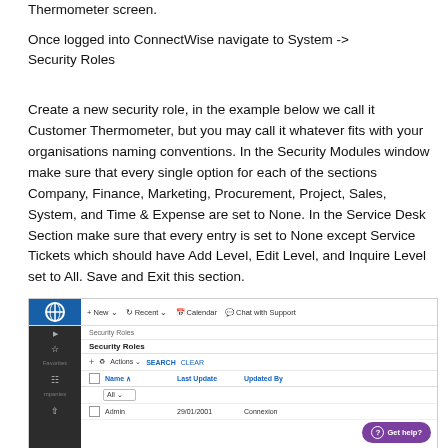Thermometer screen.
Once logged into ConnectWise navigate to System -> Security Roles
Create a new security role, in the example below we call it Customer Thermometer, but you may call it whatever fits with your organisations naming conventions. In the Security Modules window make sure that every single option for each of the sections Company, Finance, Marketing, Procurement, Project, Sales, System, and Time & Expense are set to None. In the Service Desk Section make sure that every entry is set to None except Service Tickets which should have Add Level, Edit Level, and Inquire Level set to All. Save and Exit this section.
[Figure (screenshot): Screenshot of ConnectWise interface showing Security Roles navigation. Top navigation bar with New, Recent, Calendar, Chat with Support options. Below shows Security Roles breadcrumb and table with Name, Last Update, Updated By columns. A purple 'Get help?' button appears at bottom right.]